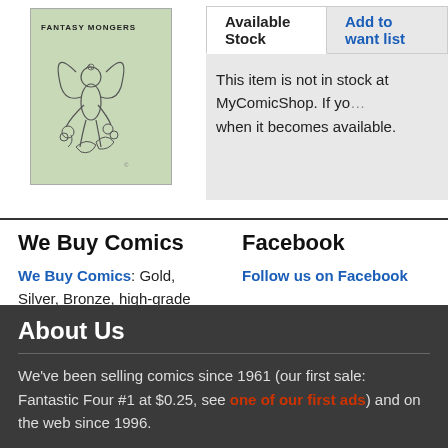[Figure (illustration): Comic book cover showing a fairy or winged figure with flowers, light green background, titled FANTASY MONGERS at top]
Available Stock	Add to want list
This item is not in stock at MyComicShop. If yo... when it becomes available.
We Buy Comics
We Buy Comics: Gold, Silver, Bronze, high-grade Modern. Cash advances up to $1M available.
Facebook
Follow us on Facebook
About Us
We've been selling comics since 1961 (our first sale: Fantastic Four #1 at $0.25, see one of our first ads) and on the web since 1996.